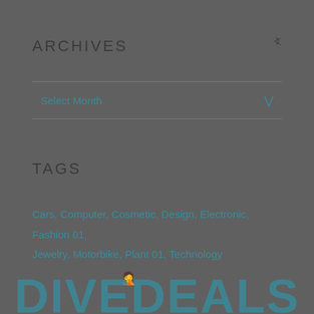ARCHIVES
Select Month
TAGS
Cars, Computer, Cosmetic, Design, Electronic, Fashion 01, Jewelry, Motorbike, Plant 01, Technology
[Figure (logo): DIVEDEALS logo with diver icon, teal colored large text at bottom of page]